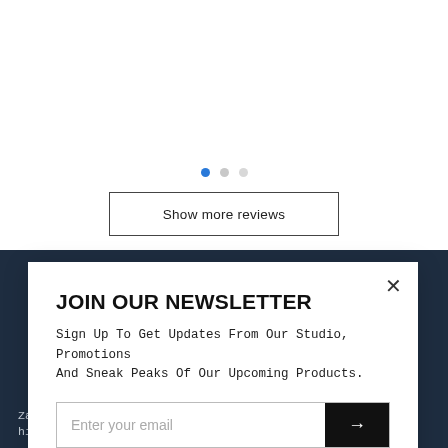[Figure (other): Three pagination dots: one filled blue, two gray]
Show more reviews
JOIN OUR NEWSLETTER
Sign Up To Get Updates From Our Studio, Promotions And Sneak Peaks Of Our Upcoming Products.
Enter your email
Zari also known as the "thread of gold" has a deep rooted history